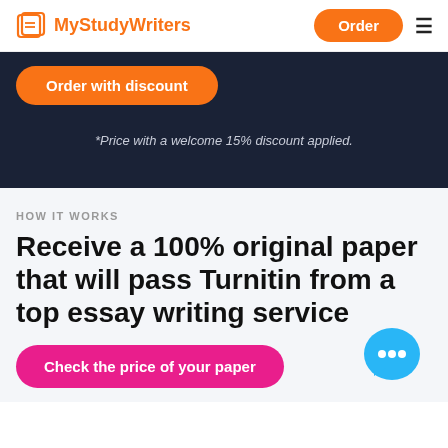MyStudyWriters  Order
Order with discount
*Price with a welcome 15% discount applied.
HOW IT WORKS
Receive a 100% original paper that will pass Turnitin from a top essay writing service
Check the price of your paper